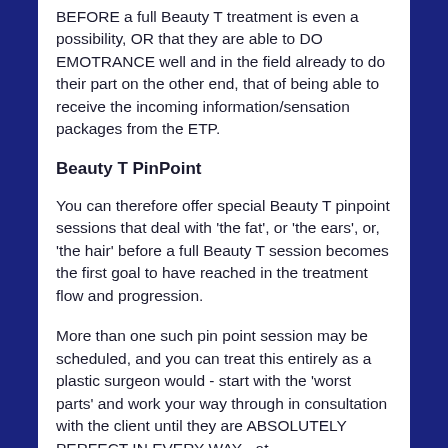BEFORE a full Beauty T treatment is even a possibility, OR that they are able to DO EMOTRANCE well and in the field already to do their part on the other end, that of being able to receive the incoming information/sensation packages from the ETP.
Beauty T PinPoint
You can therefore offer special Beauty T pinpoint sessions that deal with 'the fat', or 'the ears', or, 'the hair' before a full Beauty T session becomes the first goal to have reached in the treatment flow and progression.
More than one such pin point session may be scheduled, and you can treat this entirely as a plastic surgeon would - start with the 'worst parts' and work your way through in consultation with the client until they are ABSOLUTELY PERFECT IN EVERY WAY - at